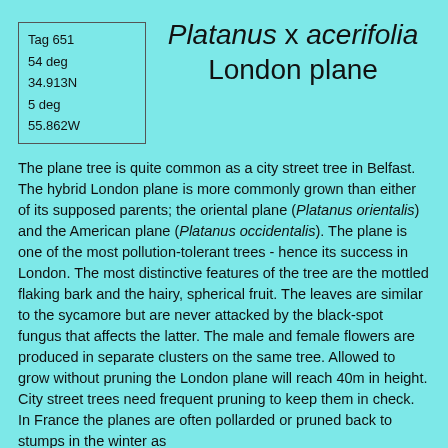| Tag 651 |
| 54 deg |
| 34.913N |
| 5 deg |
| 55.862W |
Platanus x acerifolia London plane
The plane tree is quite common as a city street tree in Belfast. The hybrid London plane is more commonly grown than either of its supposed parents; the oriental plane (Platanus orientalis) and the American plane (Platanus occidentalis). The plane is one of the most pollution-tolerant trees - hence its success in London. The most distinctive features of the tree are the mottled flaking bark and the hairy, spherical fruit. The leaves are similar to the sycamore but are never attacked by the black-spot fungus that affects the latter. The male and female flowers are produced in separate clusters on the same tree. Allowed to grow without pruning the London plane will reach 40m in height. City street trees need frequent pruning to keep them in check. In France the planes are often pollarded or pruned back to stumps in the winter as